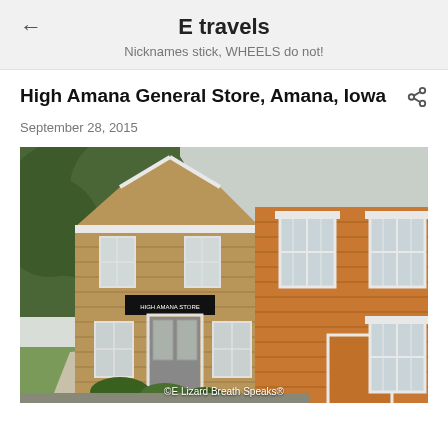E travels
Nicknames stick, WHEELS do not!
High Amana General Store, Amana, Iowa
September 28, 2015
[Figure (photo): Exterior photograph of the High Amana General Store in Amana, Iowa. Shows a two-story stone building on the left with a sign reading 'HIGH AMANA STORE' above an entrance with white-trimmed windows and door. To the right is an orange/tan wood-sided two-story structure with white-trimmed windows. Large trees visible in background on left. Photo credit: 'E Lizard Breath Speaks']